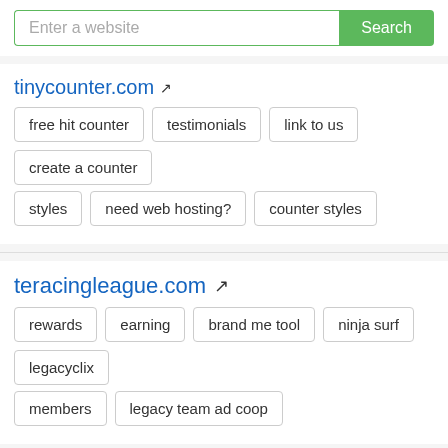Enter a website [Search]
tinycounter.com
free hit counter
testimonials
link to us
create a counter
styles
need web hosting?
counter styles
teracingleague.com
rewards
earning
brand me tool
ninja surf
legacyclix
members
legacy team ad coop